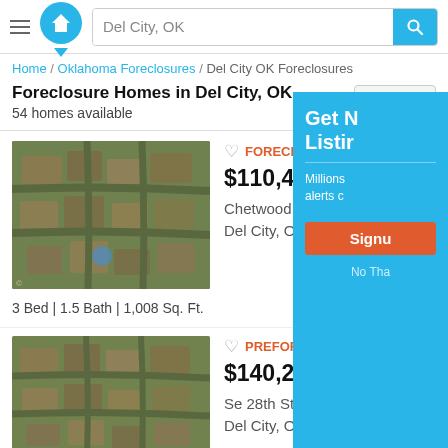[Figure (screenshot): Website header with hamburger menu, house logo, and search bar showing 'Del City, OK']
Home / Oklahoma Foreclosures / Del City OK Foreclosures
Foreclosure Homes in Del City, OK
54 homes available
Filters
FORECLOSURE
$110,400 EMV
Chetwood Dr
Del City, OK 73115
3 Bed | 1.5 Bath | 1,008 Sq. Ft.
[Figure (photo): Aerial satellite view of residential neighborhood for Chetwood Dr property]
PREFORECLOSURE
$140,256 EMV
Se 28th St
Del City, OK 73115
[Figure (photo): Aerial satellite view of residential neighborhood for Se 28th St property]
Get New Listings
Millions of alerts...
Signup
No Thanks